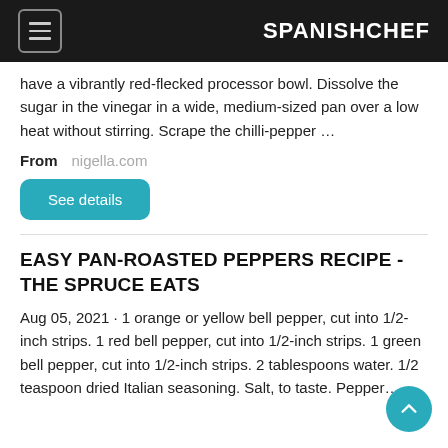SPANISHCHEF
have a vibrantly red-flecked processor bowl. Dissolve the sugar in the vinegar in a wide, medium-sized pan over a low heat without stirring. Scrape the chilli-pepper …
From   nigella.com
See details
EASY PAN-ROASTED PEPPERS RECIPE - THE SPRUCE EATS
Aug 05, 2021 · 1 orange or yellow bell pepper, cut into 1/2-inch strips. 1 red bell pepper, cut into 1/2-inch strips. 1 green bell pepper, cut into 1/2-inch strips. 2 tablespoons water. 1/2 teaspoon dried Italian seasoning. Salt, to taste. Pepper…